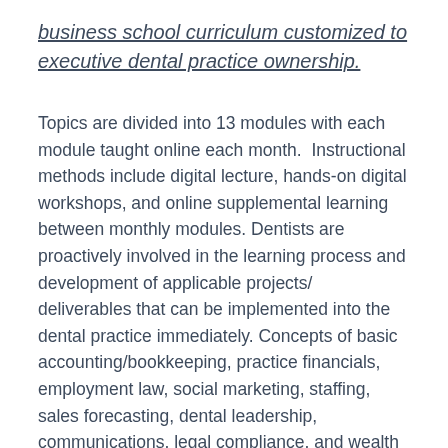business school curriculum customized to executive dental practice ownership.
Topics are divided into 13 modules with each module taught online each month.  Instructional methods include digital lecture, hands-on digital workshops, and online supplemental learning between monthly modules. Dentists are proactively involved in the learning process and development of applicable projects/ deliverables that can be implemented into the dental practice immediately. Concepts of basic accounting/bookkeeping, practice financials, employment law, social marketing, staffing, sales forecasting, dental leadership, communications, legal compliance, and wealth accumulation serve as primary content for this course.